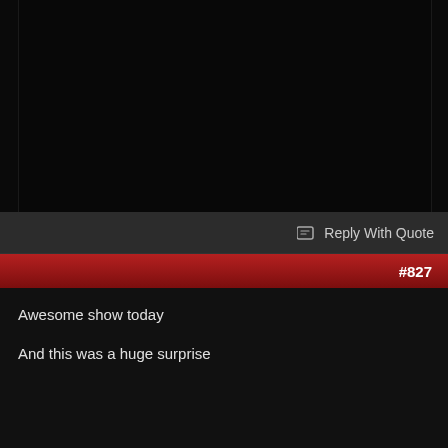[Figure (screenshot): Dark black video or content area taking up the top portion of the page]
Reply With Quote
#827
Awesome show today

And this was a huge surprise